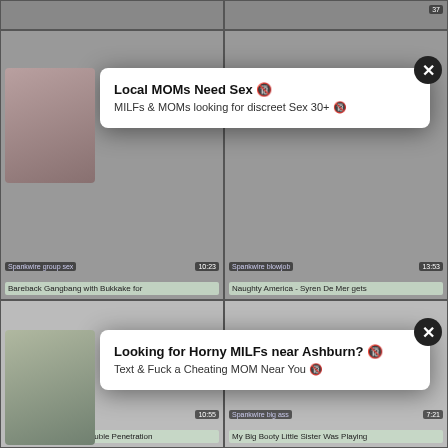[Figure (screenshot): Adult video thumbnail grid with two popup advertisements overlaid. Top row shows partial thumbnails. Middle row shows two video thumbnails with labels 'Spankwire group sex' and 'Spankwire blowjob'. Bottom row shows two thumbnails labeled 'Spankwire blowjob' (EvilAngel) and 'Spankwire big ass'. Popup ads read 'Local MOMs Need Sex / MILFs & MOMs looking for discreet Sex 30+' and 'Looking for Horny MILFs near Ashburn? / Text & Fuck a Cheating MOM Near You'.]
Local MOMs Need Sex 🔞
MILFs & MOMs looking for discreet Sex 30+ 🔞
Looking for Horny MILFs near Ashburn? 🔞
Text & Fuck a Cheating MOM Near You 🔞
Bareback Gangbang with Bukkake for
Naughty America - Syren De Mer gets
EvilAngel: I Am Riley Double Penetration
My Big Booty Little Sister Was Playing